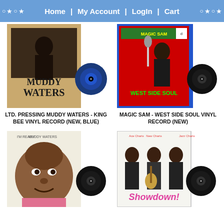Home | My Account | Login | Cart
[Figure (photo): Muddy Waters - King Bee vinyl record album cover with blue vinyl record beside it]
LTD. PRESSING MUDDY WATERS - KING BEE VINYL RECORD (NEW, BLUE)
[Figure (photo): Magic Sam - West Side Soul vinyl record album cover with black vinyl record beside it]
MAGIC SAM - WEST SIDE SOUL VINYL RECORD (NEW)
[Figure (photo): Muddy Waters I'm Ready album cover portrait with black vinyl record beside it]
[Figure (photo): Showdown! album cover with three musicians and black vinyl record beside it]